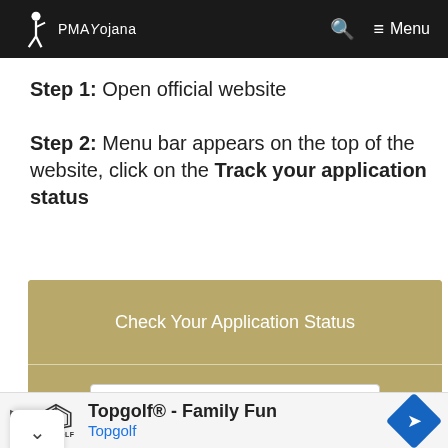PMAYojana — Menu
Step 1: Open official website
Step 2: Menu bar appears on the top of the website, click on the Track your application status
[Figure (screenshot): A golden/tan widget box titled 'Check Your Application Status' with a 'Select Department' dropdown below it]
Topgolf® - Family Fun
Topgolf